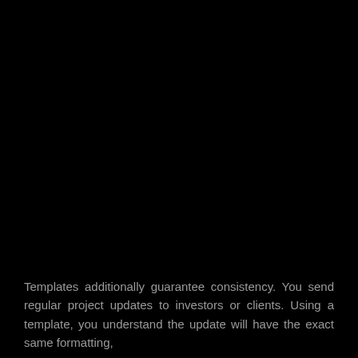Templates additionally guarantee consistency. You send regular project updates to investors or clients. Using a template, you understand the update will have the exact same formatting,